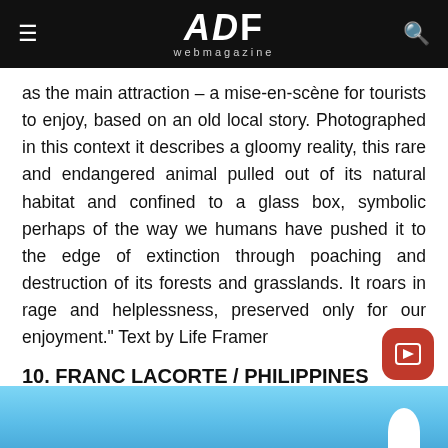ADF webmagazine
as the main attraction – a mise-en-scène for tourists to enjoy, based on an old local story. Photographed in this context it describes a gloomy reality, this rare and endangered animal pulled out of its natural habitat and confined to a glass box, symbolic perhaps of the way we humans have pushed it to the edge of extinction through poaching and destruction of its forests and grasslands. It roars in rage and helplessness, preserved only for our enjoyment." Text by Life Framer
10. FRANC LACORTE / PHILIPPINES
[Figure (photo): Bottom strip showing a blue sky scene with a white domed building visible at lower right]